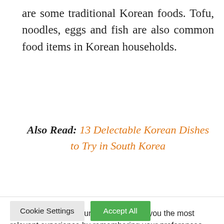are some traditional Korean foods. Tofu, noodles, eggs and fish are also common food items in Korean households.
Also Read: 13 Delectable Korean Dishes to Try in South Korea
We use cookies on our website to give you the most relevant experience by remembering your preferences and repeat visits. By clicking “Accept All”, you consent to the use of ALL the cookies. However, you may visit “Cookie Settings” to provide a controlled consent.